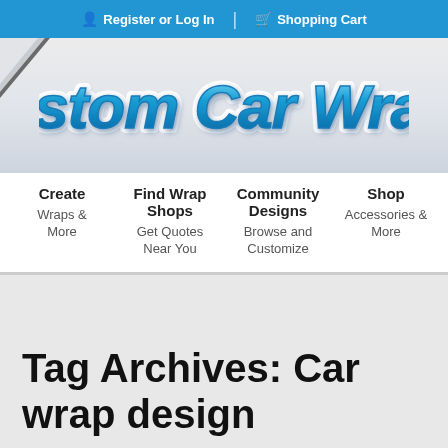Register or Log In | Shopping Cart
[Figure (logo): Custom Car Wraps logo with blue 3D italic text on a light grey gradient background with folded corner effect]
Create
Wraps & More
Find Wrap Shops
Get Quotes Near You
Community Designs
Browse and Customize
Shop
Accessories & More
Tag Archives: Car wrap design